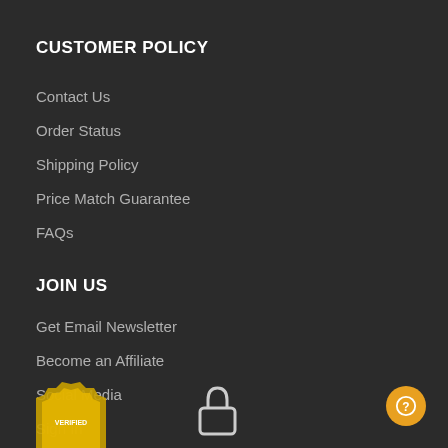CUSTOMER POLICY
Contact Us
Order Status
Shipping Policy
Price Match Guarantee
FAQs
JOIN US
Get Email Newsletter
Become an Affiliate
Social Media
Sign In
[Figure (illustration): Verified badge logo (partial, bottom left) and a lock icon (partial, bottom center), and a circular orange help/question button (bottom right)]